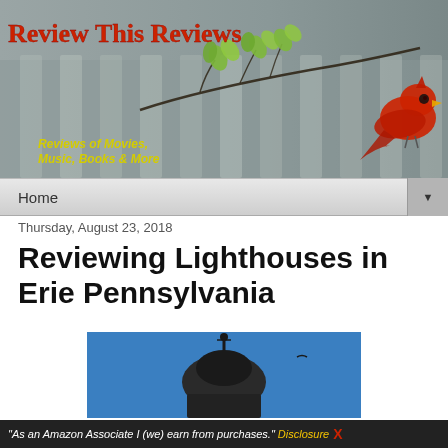[Figure (photo): Website banner for 'Review This Reviews' showing a bird (red cardinal) perched on a branch with green leaves against a blurred gray background. Red title text 'Review This Reviews' and yellow subtitle 'Reviews of Movies, Music, Books & More' overlaid on the image.]
Home
Thursday, August 23, 2018
Reviewing Lighthouses in Erie Pennsylvania
[Figure (photo): Partial photo of a lighthouse dome/top against a blue sky, showing dark metallic dome structure.]
"As an Amazon Associate I (we) earn from purchases." Disclosure X